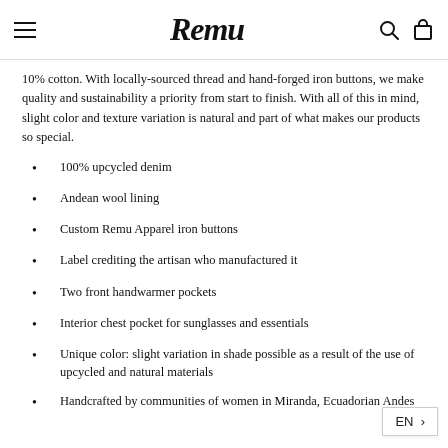Remu
10% cotton. With locally-sourced thread and hand-forged iron buttons, we make quality and sustainability a priority from start to finish. With all of this in mind, slight color and texture variation is natural and part of what makes our products so special.
100% upcycled denim
Andean wool lining
Custom Remu Apparel iron buttons
Label crediting the artisan who manufactured it
Two front handwarmer pockets
Interior chest pocket for sunglasses and essentials
Unique color: slight variation in shade possible as a result of the use of upcycled and natural materials
Handcrafted by communities of women in Miranda, Ecuadorian Andes